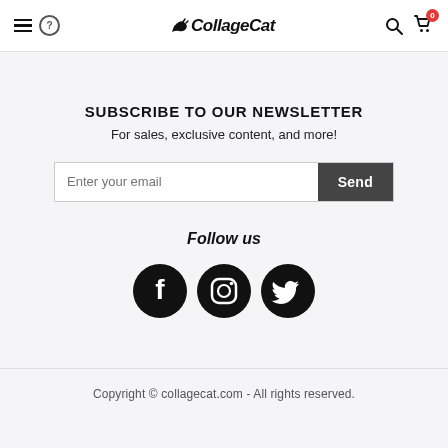CollageCat — navigation header with menu, help, logo, search, cart
SUBSCRIBE TO OUR NEWSLETTER
For sales, exclusive content, and more!
Enter your email [Send button]
Follow us
[Figure (illustration): Three social media icons: Facebook, Instagram, Twitter — black circles with white logos]
Copyright © collagecat.com - All rights reserved.